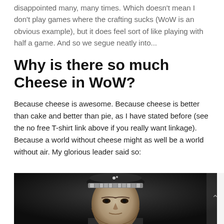disappointed many, many times. Which doesn't mean I don't play games where the crafting sucks (WoW is an obvious example), but it does feel sort of like playing with half a game. And so we segue neatly into...
Why is there so much Cheese in WoW?
Because cheese is awesome. Because cheese is better than cake and better than pie, as I have stated before (see the no free T-shirt link above if you really want linkage). Because a world without cheese might as well be a world without air. My glorious leader said so:
[Figure (photo): Black and white photograph of a military officer wearing a decorated cap with ornate embroidery and insignia, looking forward, cropped at chest level.]